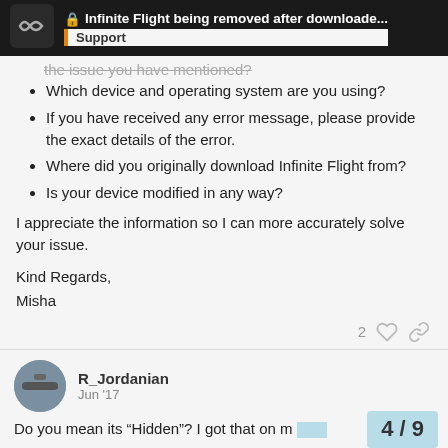🔒 Infinite Flight being removed after downloade... | Support
the issue you have mentioned?
Which device and operating system are you using?
If you have received any error message, please provide the exact details of the error.
Where did you originally download Infinite Flight from?
Is your device modified in any way?
I appreciate the information so I can more accurately solve your issue.
Kind Regards,
Misha
2 ♡ 🔗
R_Jordanian  Jun '17
Do you mean its "Hidden"? I got that on m…